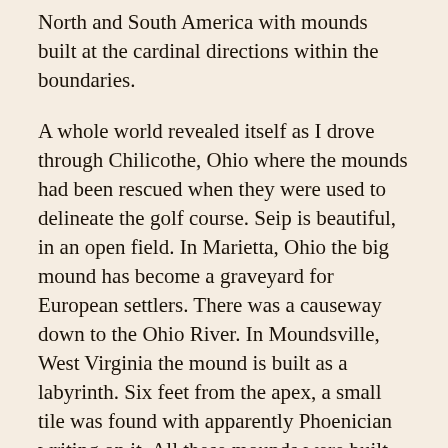North and South America with mounds built at the cardinal directions within the boundaries.
A whole world revealed itself as I drove through Chilicothe, Ohio where the mounds had been rescued when they were used to delineate the golf course. Seip is beautiful, in an open field. In Marietta, Ohio the big mound has become a graveyard for European settlers. There was a causeway down to the Ohio River. In Moundsville, West Virginia the mound is built as a labyrinth. Six feet from the apex, a small tile was found with apparently Phoenician writing on it. All these mounds were built with baskets of earth. People had leisure time, lived largely at peace, at one with Nature.